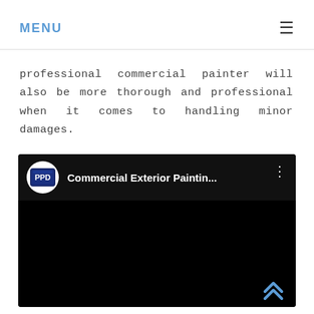MENU
professional commercial painter will also be more thorough and professional when it comes to handling minor damages.
[Figure (screenshot): YouTube video embed showing 'Commercial Exterior Paintin...' with PPD channel logo and black video area. A scroll-to-top double chevron arrow in blue is visible at bottom right.]